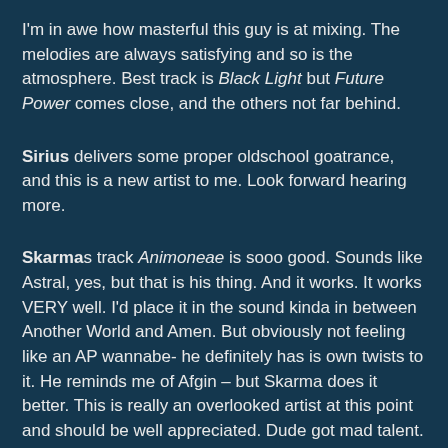I'm in awe how masterful this guy is at mixing. The melodies are always satisfying and so is the atmosphere. Best track is Black Light but Future Power comes close, and the others not far behind.
Sirius delivers some proper oldschool goatrance, and this is a new artist to me. Look forward hearing more.
Skarmas track Animoneae is sooo good. Sounds like Astral, yes, but that is his thing. And it works. It works VERY well. I'd place it in the sound kinda in between Another World and Amen. But obviously not feeling like an AP wannabe- he definitely has is own twists to it. He reminds me of Afgin – but Skarma does it better. This is really an overlooked artist at this point and should be well appreciated. Dude got mad talent.
Celestial Intelligence is another great artist, and all of the tracks here are great. My favorite is Infinity. Not much to say